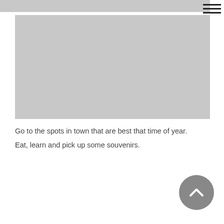[Figure (photo): Gray placeholder image banner at top of page]
[Figure (photo): Large gray placeholder image in main content area]
Go to the spots in town that are best that time of year.
Eat, learn and pick up some souvenirs.
[Figure (other): Back to top button — dark gray circular arrow up icon]